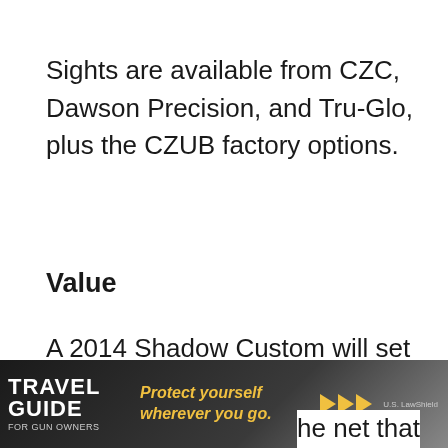Sights are available from CZC, Dawson Precision, and Tru-Glo, plus the CZUB factory options.
Value
A 2014 Shadow Custom will set you back $1,300 at the time of writing. A standard SP-01 Shadow is $880, and an SP-01 is $610-$650. Most other competition pistols that sport polymer frames are in the $650 neighborhood (or less). I prefer the SP-01 frame to most of
[Figure (advertisement): Travel Guide for Gun Owners advertisement banner with U.S. LawShield, text 'Protect yourself wherever you go.' with gold play arrows]
he net that